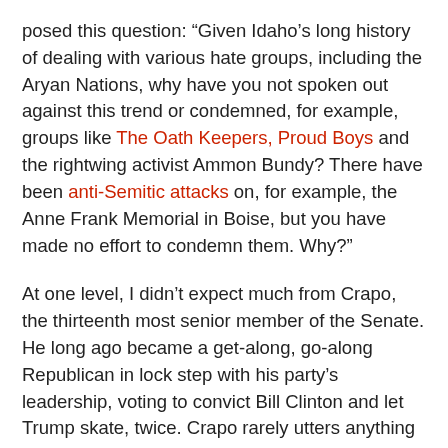posed this question: “Given Idaho’s long history of dealing with various hate groups, including the Aryan Nations, why have you not spoken out against this trend or condemned, for example, groups like The Oath Keepers, Proud Boys and the rightwing activist Ammon Bundy? There have been anti-Semitic attacks on, for example, the Anne Frank Memorial in Boise, but you have made no effort to condemn them. Why?”
At one level, I didn’t expect much from Crapo, the thirteenth most senior member of the Senate. He long ago became a get-along, go-along Republican in lock step with his party’s leadership, voting to convict Bill Clinton and let Trump skate, twice. Crapo rarely utters anything beyond the sterile talking points that GOP political consultants crank out for him.
But frankly I did expect an answer to the question about